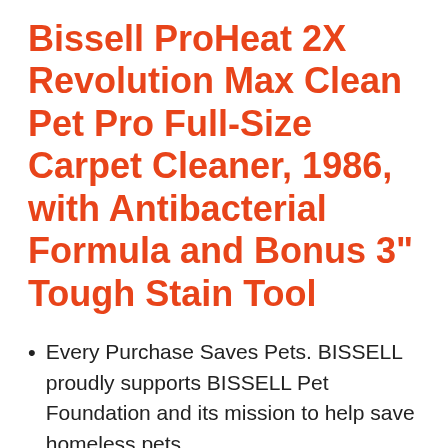Bissell ProHeat 2X Revolution Max Clean Pet Pro Full-Size Carpet Cleaner, 1986, with Antibacterial Formula and Bonus 3" Tough Stain Tool
Every Purchase Saves Pets. BISSELL proudly supports BISSELL Pet Foundation and its mission to help save homeless pets.
Engineered to be our best and most powerful carpet cleaning system for